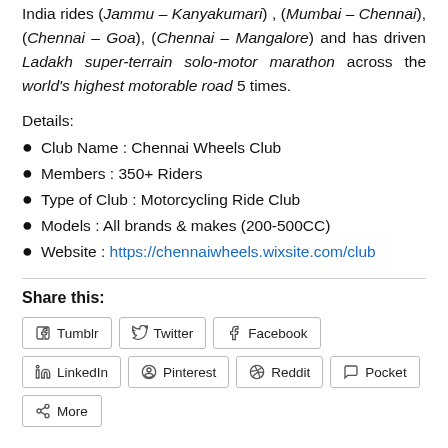India rides (Jammu – Kanyakumari), (Mumbai – Chennai),(Chennai – Goa), (Chennai – Mangalore) and has driven Ladakh super-terrain solo-motor marathon across the world's highest motorable road 5 times.
Details:
Club Name : Chennai Wheels Club
Members : 350+ Riders
Type of Club : Motorcycling Ride Club
Models : All brands & makes (200-500CC)
Website : https://chennaiwheels.wixsite.com/club
Share this:
Tumblr | Twitter | Facebook | LinkedIn | Pinterest | Reddit | Pocket | More